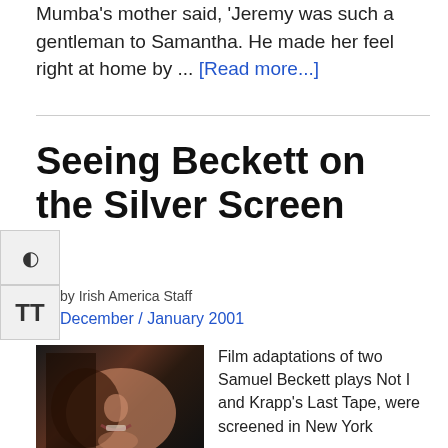Mumba's mother said, 'Jeremy was such a gentleman to Samantha. He made her feel right at home by ... [Read more...]
Seeing Beckett on the Silver Screen
by Irish America Staff
December / January 2001
[Figure (photo): Close-up photo of a face, dimly lit, showing nose and mouth area against a dark background.]
Film adaptations of two Samuel Beckett plays Not I and Krapp's Last Tape, were screened in New York